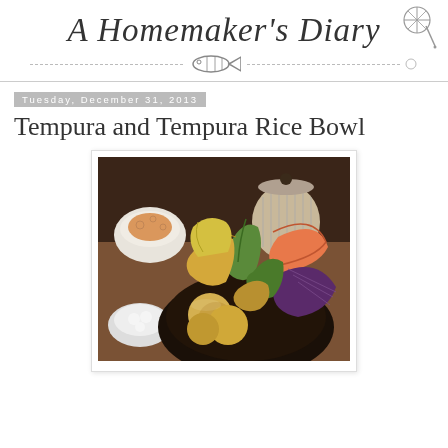A Homemaker's Diary
Tuesday, December 31, 2013
Tempura and Tempura Rice Bowl
[Figure (photo): A bowl of assorted tempura including shrimp, vegetables (okra, eggplant, zucchini blossom), arranged in a dark bowl, with side bowls of condiments and a Japanese teapot in the background on a brown wooden table.]